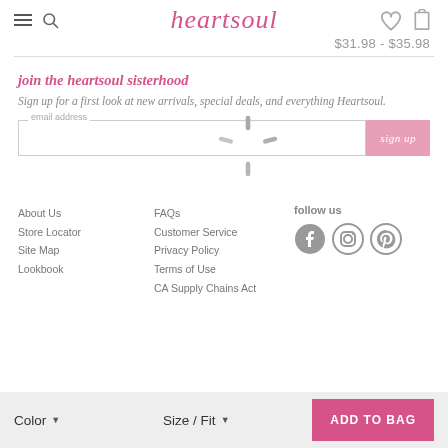heartsoul
$31.98 - $35.98
join the heartsoul sisterhood
Sign up for a first look at new arrivals, special deals, and everything Heartsoul.
[Figure (infographic): Email address input field with sign up button and loading spinner overlay]
About Us
Store Locator
Site Map
Lookbook
FAQs
Customer Service
Privacy Policy
Terms of Use
CA Supply Chains Act
follow us
Color   Size / Fit   ADD TO BAG